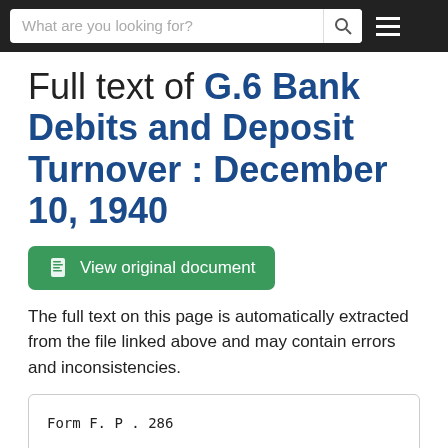What are you looking for?
Full text of G.6 Bank Debits and Deposit Turnover : December 10, 1940
[Figure (other): Green button: View original document]
The full text on this page is automatically extracted from the file linked above and may contain errors and inconsistencies.
Form F. P . 286
.

STATEMENT FOR THE PRESS